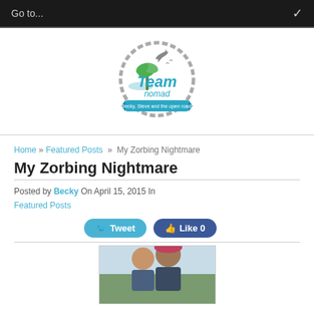Go to...
[Figure (logo): Team Nomad logo — circular rope border with palm tree, airplane, birds, blue script 'Team nomad' text, banner reading 'Becky, Steve and the open road!']
Home » Featured Posts » My Zorbing Nightmare
My Zorbing Nightmare
Posted by Becky On April 15, 2015 In Featured Posts
[Figure (other): Tweet and Like 0 social share buttons]
[Figure (photo): Photo of a woman and man outdoors, partially visible at bottom of page]